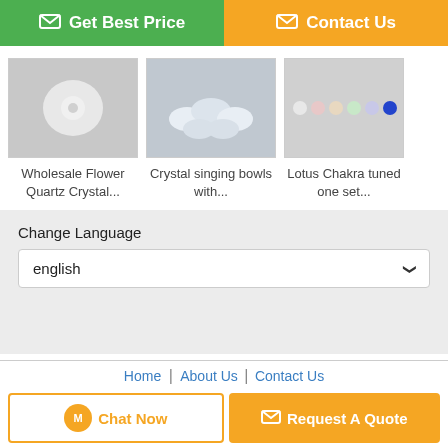[Figure (screenshot): Get Best Price button (green) and Contact Us button (orange) at the top]
[Figure (photo): Wholesale Flower Quartz Crystal product image]
Wholesale Flower Quartz Crystal...
[Figure (photo): Crystal singing bowls with... product image]
Crystal singing bowls with...
[Figure (photo): Lotus Chakra tuned one set... product image]
Lotus Chakra tuned one set...
Change Language
english
Home | About Us | Contact Us
Desktop View
China crystal bowls Supplier. Copyright © 2016 - 2022 quartzsingbowl.com. All rights reserved. Developed by ECER
[Figure (screenshot): Chat Now button and Request A Quote button at the bottom]